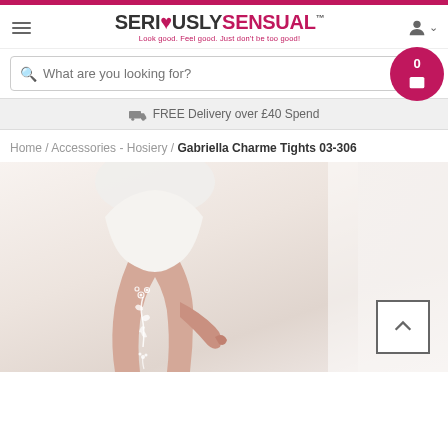SERI❤USLYSENSUAL™ — Look good. Feel good. Just don't be too good!
What are you looking for?
FREE Delivery over £40 Spend
Home / Accessories - Hosiery / Gabriella Charme Tights 03-306
[Figure (photo): Product photo showing a woman's leg wearing sheer tights with a white floral design on the thigh, white shorts, against a light background]